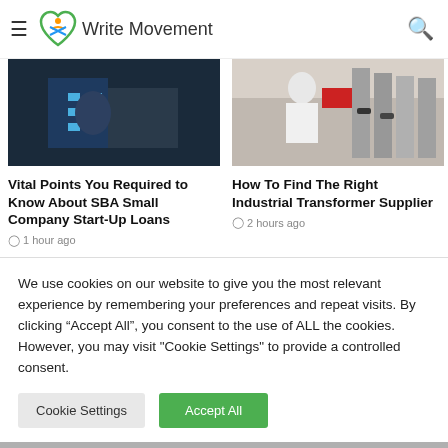Write Movement
[Figure (photo): Person handling boxes, warehouse or shipping context]
Vital Points You Required to Know About SBA Small Company Start-Up Loans
1 hour ago
[Figure (photo): Person working at industrial machinery, factory setting]
How To Find The Right Industrial Transformer Supplier
2 hours ago
[Figure (photo): Partial bottom image left - light gray]
[Figure (photo): Partial bottom image right - purple/lavender with Gynkuup badge and phone]
We use cookies on our website to give you the most relevant experience by remembering your preferences and repeat visits. By clicking "Accept All", you consent to the use of ALL the cookies. However, you may visit "Cookie Settings" to provide a controlled consent.